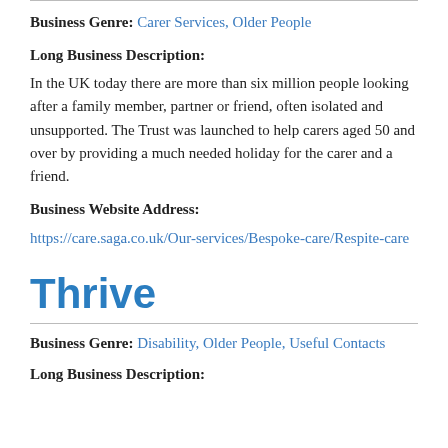Business Genre: Carer Services, Older People
Long Business Description:
In the UK today there are more than six million people looking after a family member, partner or friend, often isolated and unsupported. The Trust was launched to help carers aged 50 and over by providing a much needed holiday for the carer and a friend.
Business Website Address:
https://care.saga.co.uk/Our-services/Bespoke-care/Respite-care
Thrive
Business Genre: Disability, Older People, Useful Contacts
Long Business Description: